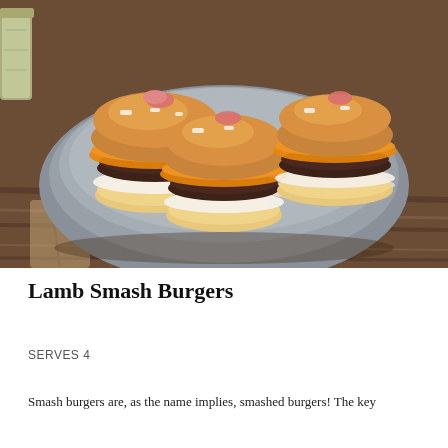[Figure (photo): Close-up food photograph of lamb smash burgers — small slider-style burgers with golden-brown brioche buns, melted orange cheese, crumbled white cheese, and meat patties, arranged on a grey ceramic plate over a rustic wooden surface. A glass jar is visible in the top-left corner.]
Lamb Smash Burgers
SERVES 4
Smash burgers are, as the name implies, smashed burgers! The key